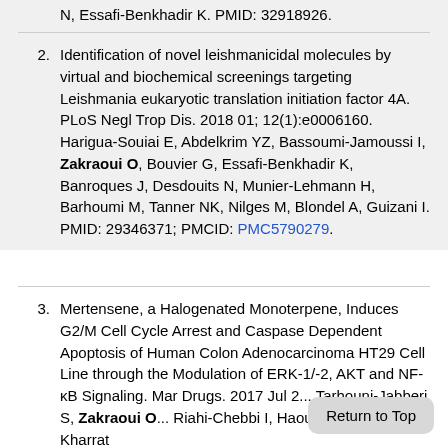N, Essafi-Benkhadir K. PMID: 32918926.
Identification of novel leishmanicidal molecules by virtual and biochemical screenings targeting Leishmania eukaryotic translation initiation factor 4A. PLoS Negl Trop Dis. 2018 01; 12(1):e0006160. Harigua-Souiai E, Abdelkrim YZ, Bassoumi-Jamoussi I, Zakraoui O, Bouvier G, Essafi-Benkhadir K, Banroques J, Desdouits N, Munier-Lehmann H, Barhoumi M, Tanner NK, Nilges M, Blondel A, Guizani I. PMID: 29346371; PMCID: PMC5790279.
Mertensene, a Halogenated Monoterpene, Induces G2/M Cell Cycle Arrest and Caspase Dependent Apoptosis of Human Colon Adenocarcinoma HT29 Cell Line through the Modulation of ERK-1/-2, AKT and NF-κB Signaling. Mar Drugs. 2017 Jul 2... Tarhouni-Jabberi S, Zakraoui O... Riahi-Chebbi I, Haoues M, Roussis V, Kharrat